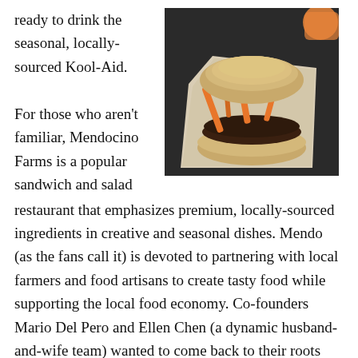ready to drink the seasonal, locally-sourced Kool-Aid.
[Figure (photo): A sandwich with greens, carrots, and jalapeños wrapped in parchment paper on a dark background, with an orange drink visible in the top right corner.]
For those who aren't familiar, Mendocino Farms is a popular sandwich and salad restaurant that emphasizes premium, locally-sourced ingredients in creative and seasonal dishes. Mendo (as the fans call it) is devoted to partnering with local farmers and food artisans to create tasty food while supporting the local food economy. Co-founders Mario Del Pero and Ellen Chen (a dynamic husband-and-wife team) wanted to come back to their roots with a Midtown location,